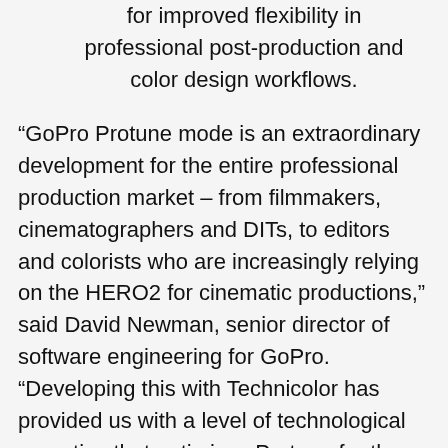for improved flexibility in professional post-production and color design workflows.
“GoPro Protune mode is an extraordinary development for the entire professional production market – from filmmakers, cinematographers and DITs, to editors and colorists who are increasingly relying on the HERO2 for cinematic productions,” said David Newman, senior director of software engineering for GoPro. “Developing this with Technicolor has provided us with a level of technological expertise that optimizes Protune for the professional market. Filmmakers are making critical decisions every day on the tools they’ll invest in for their cinematic productions, and we are confident our collaboration with Technicolor